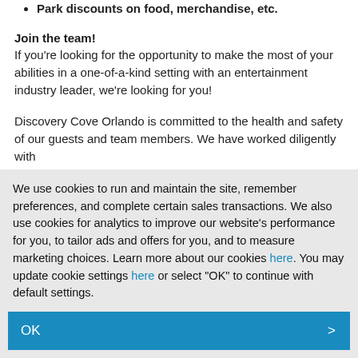Park discounts on food, merchandise, etc.
Join the team!
If you're looking for the opportunity to make the most of your abilities in a one-of-a-kind setting with an entertainment industry leader, we're looking for you!
Discovery Cove Orlando is committed to the health and safety of our guests and team members. We have worked diligently with
We use cookies to run and maintain the site, remember preferences, and complete certain sales transactions. We also use cookies for analytics to improve our website's performance for you, to tailor ads and offers for you, and to measure marketing choices. Learn more about our cookies here. You may update cookie settings here or select "OK" to continue with default settings.